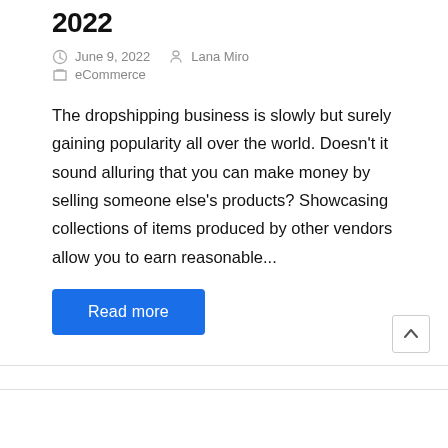2022
June 9, 2022    Lana Miro
eCommerce
The dropshipping business is slowly but surely gaining popularity all over the world. Doesn't it sound alluring that you can make money by selling someone else's products? Showcasing collections of items produced by other vendors allow you to earn reasonable...
Read more